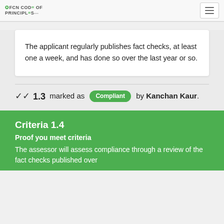IFCN CODE OF PRINCIPLES
The applicant regularly publishes fact checks, at least one a week, and has done so over the last year or so.
✔ 1.3 marked as Compliant by Kanchan Kaur.
Criteria 1.4
Proof you meet criteria
The assessor will assess compliance through a review of the fact checks published over...